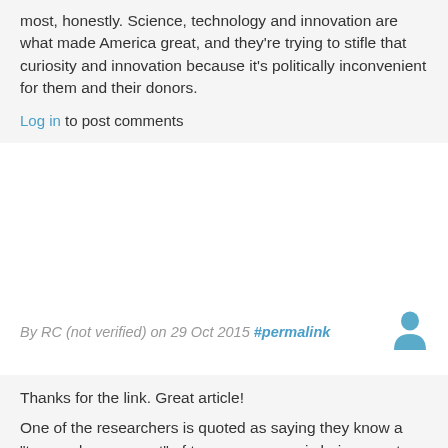most, honestly. Science, technology and innovation are what made America great, and they're trying to stifle that curiosity and innovation because it's politically inconvenient for them and their donors.
Log in to post comments
By RC (not verified) on 29 Oct 2015 #permalink
[Figure (illustration): User avatar icon in blue/teal color]
Thanks for the link. Great article!
One of the researchers is quoted as saying they know a "tremendous amount" of taxpayer money is being spent. From *his* point of view as a poorly-paid scholar, yeah maybe a lot of money. But compared to the scale of the Federal government, or the severity of the problem, we are spending a pittance.
Log in to post comments